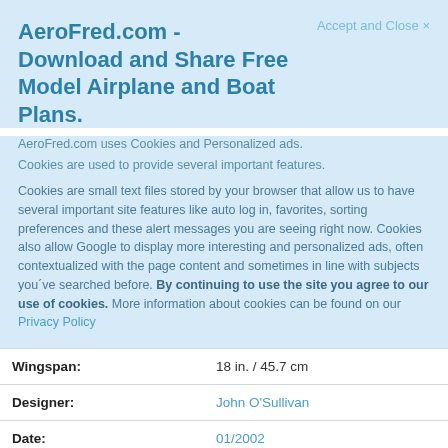AeroFred.com - Download and Share Free Model Airplane and Boat Plans.
Accept and Close ×
AeroFred.com uses Cookies and Personalized ads.
Cookies are used to provide several important features.
Cookies are small text files stored by your browser that allow us to have several important site features like auto log in, favorites, sorting preferences and these alert messages you are seeing right now. Cookies also allow Google to display more interesting and personalized ads, often contextualized with the page content and sometimes in line with subjects you´ve searched before. By continuing to use the site you agree to our use of cookies. More information about cookies can be found on our Privacy Policy
| Wingspan: | 18 in. / 45.7 cm |
| Designer: | John O'Sullivan |
| Date: | 01/2002 |
| Plan File Info: |  |
| ID: | 102896 |